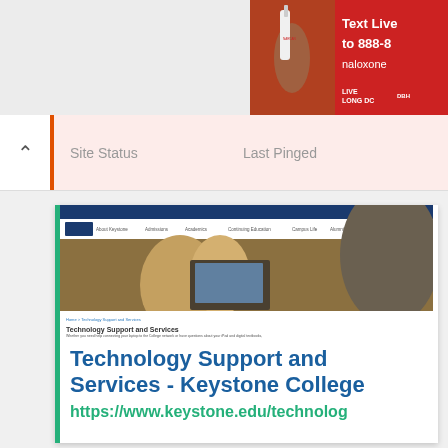[Figure (screenshot): Naloxone advertisement on red background with text: Text Live to 888-8... naloxone. Live Long DC DBHH logo visible.]
| Site Status | Last Pinged |
| --- | --- |
[Figure (screenshot): Screenshot of Keystone College Technology Support and Services webpage, showing the college website with navigation bar, hero image of students at computers, and page title Technology Support and Services with introductory text.]
Technology Support and Services - Keystone College
https://www.keystone.edu/technolog